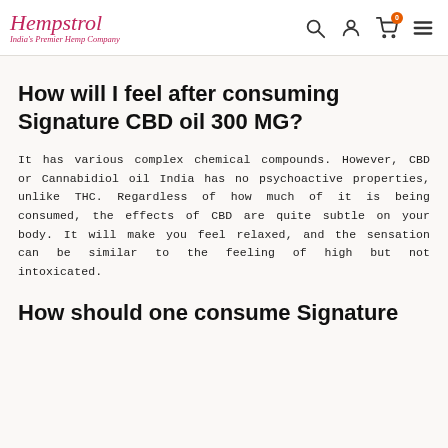Hempstrol — India's Premier Hemp Company
How will I feel after consuming Signature CBD oil 300 MG?
It has various complex chemical compounds. However, CBD or Cannabidiol oil India has no psychoactive properties, unlike THC. Regardless of how much of it is being consumed, the effects of CBD are quite subtle on your body. It will make you feel relaxed, and the sensation can be similar to the feeling of high but not intoxicated.
How should one consume Signature